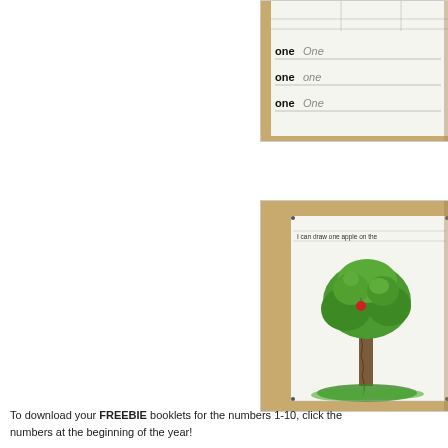[Figure (photo): Photo of a worksheet with handwriting practice showing 'one' written and traced multiple times on lines, on a wooden desk surface.]
[Figure (photo): Photo of a worksheet showing a drawing activity with text 'I can draw one apple on the...' and a hand-colored illustration of a large green tree with a red apple and green grass at the base, set on a wooden desk.]
To download your FREEBIE booklets for the numbers 1-10, click the numbers at the beginning of the year!